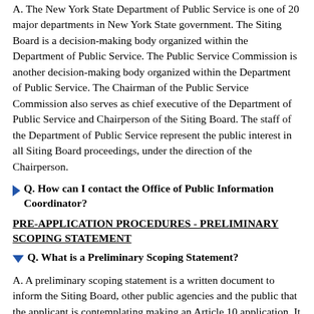A. The New York State Department of Public Service is one of 20 major departments in New York State government. The Siting Board is a decision-making body organized within the Department of Public Service. The Public Service Commission is another decision-making body organized within the Department of Public Service. The Chairman of the Public Service Commission also serves as chief executive of the Department of Public Service and Chairperson of the Siting Board. The staff of the Department of Public Service represent the public interest in all Siting Board proceedings, under the direction of the Chairperson.
Q. How can I contact the Office of Public Information Coordinator?
PRE-APPLICATION PROCEDURES - PRELIMINARY SCOPING STATEMENT
Q. What is a Preliminary Scoping Statement?
A. A preliminary scoping statement is a written document to inform the Siting Board, other public agencies and the public that the applicant is contemplating making an Article 10 application. It is prepared by an applicant after consulting with the public, affected agencies, and other stakeholders. The term "consulting" in this context means providing information to and effective opportunities for input from the public, affected agencies, and